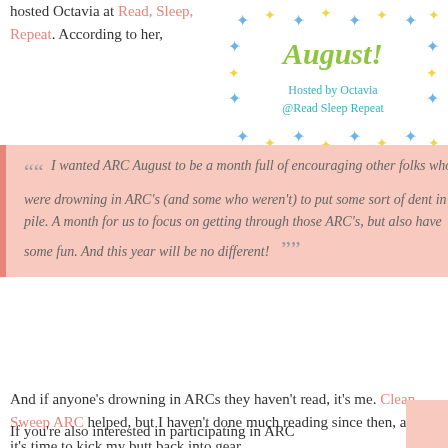hosted Octavia at Read, Sleep, Repeat. According to her,
[Figure (illustration): ARC August badge with star decorations in blue and yellow, cursive 'August!' in green, text 'Hosted by Octavia @Read Sleep Repeat' in teal]
“” I wanted ARC August to be a month full of encouraging other folks who were drowning in ARC's (and some who weren't) to put some sort of dent in that pile. A month for us to focus on getting through those ARC's, but also have some fun. And this year will be no different!
And if anyone's drowning in ARCs they haven't read, it's me. Clean Sweep ARC helped, but I haven't done much reading since then, and it's time to kick my butt back into gear.
If you're also interested in participating in ARC